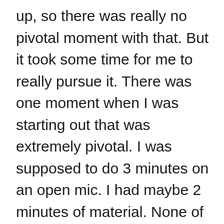up, so there was really no pivotal moment with that. But it took some time for me to really pursue it. There was one moment when I was starting out that was extremely pivotal. I was supposed to do 3 minutes on an open mic. I had maybe 2 minutes of material. None of it particularly funny. The Emcee of the show left the room during my set and I ended up being on stage for 25 minutes. I was forced to think on my feet and riff for close to a half hour… and it went great. That night I realized I can do this… and then I went on to bomb consistently for the next 2 and half to three years, before I